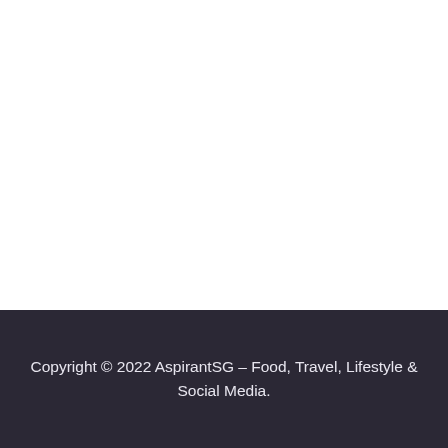Copyright © 2022 AspirantSG – Food, Travel, Lifestyle & Social Media.